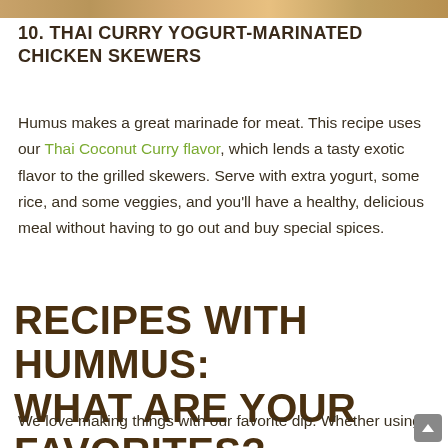[Figure (photo): Cropped photo strip at top of page showing food/chicken skewers in warm golden-brown tones]
10. THAI CURRY YOGURT-MARINATED CHICKEN SKEWERS
Humus makes a great marinade for meat. This recipe uses our Thai Coconut Curry flavor, which lends a tasty exotic flavor to the grilled skewers. Serve with extra yogurt, some rice, and some veggies, and you'll have a healthy, delicious meal without having to go out and buy special spices.
RECIPES WITH HUMMUS: WHAT ARE YOUR FAVORITES?
We love making things with our favorite dip. Whether using it